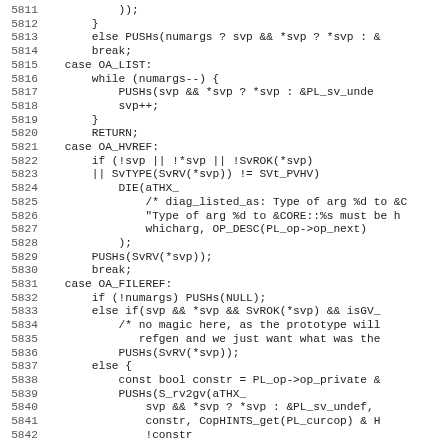[Figure (screenshot): Source code listing (C/Perl XS code) showing lines 5811-5842 with line numbers on the left and code content on the right, monospace font on white background.]